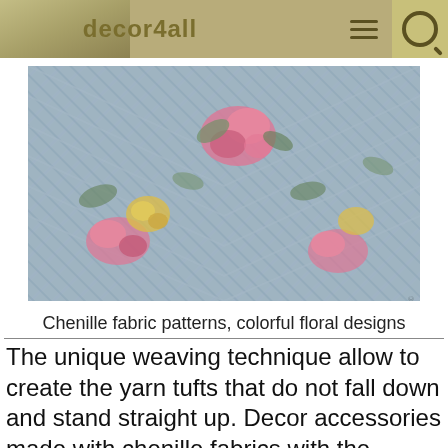decor4all
[Figure (photo): Close-up of chenille fabric with colorful floral patterns in pink, blue, yellow, and white, showing woven diagonal texture with raised yarn tufts and floral designs.]
Chenille fabric patterns, colorful floral designs
The unique weaving technique allow to create the yarn tufts that do not fall down and stand straight up. Decor accessories made with chenille fabrics with the raised pieces of yarn look and feel very appealing and different.